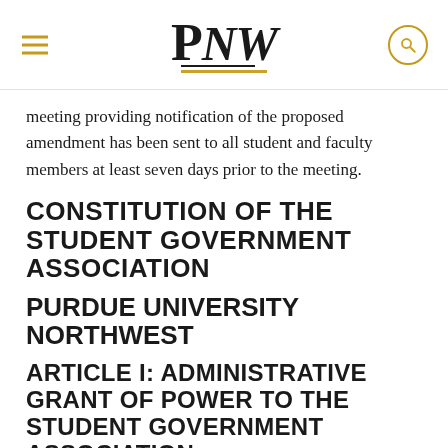PNW - Purdue University Northwest
meeting providing notification of the proposed amendment has been sent to all student and faculty members at least seven days prior to the meeting.
CONSTITUTION OF THE STUDENT GOVERNMENT ASSOCIATION
PURDUE UNIVERSITY NORTHWEST
ARTICLE I: ADMINISTRATIVE GRANT OF POWER TO THE STUDENT GOVERNMENT ASSOCIATION
The authorities of Purdue University Northwest